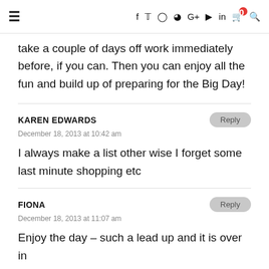≡  f  ✓  ◎  ⊕  G+  ▶  in  🛒0  🔍
take a couple of days off work immediately before, if you can. Then you can enjoy all the fun and build up of preparing for the Big Day!
KAREN EDWARDS
December 18, 2013 at 10:42 am
I always make a list other wise I forget some last minute shopping etc
FIONA
December 18, 2013 at 11:07 am
Enjoy the day – such a lead up and it is over in